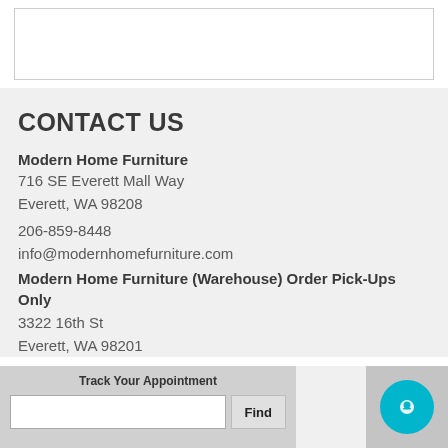[Figure (other): White rectangular box with border at top of page]
CONTACT US
Modern Home Furniture
716 SE Everett Mall Way
Everett, WA 98208
206-859-8448
info@modernhomefurniture.com
Modern Home Furniture (Warehouse) Order Pick-Ups Only
3322 16th St
Everett, WA 98201
Track Your Appointment
[Figure (other): Chat widget circle button in teal/cyan color at bottom right]